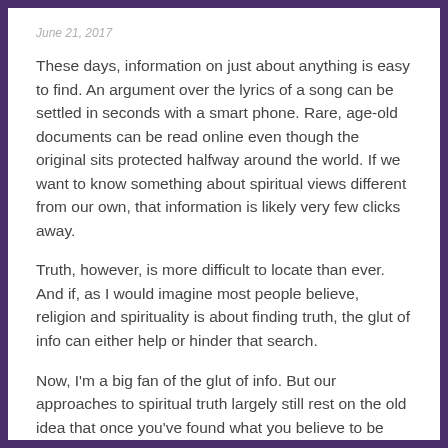June 21, 2017
These days, information on just about anything is easy to find.  An argument over the lyrics of a song can be settled in seconds with a smart phone.  Rare, age-old documents can be read online even though the original sits protected halfway around the world.  If we want to know something about spiritual views different from our own, that information is likely very few clicks away.
Truth, however, is more difficult to locate than ever.  And if, as I would imagine most people believe, religion and spirituality is about finding truth, the glut of info can either help or hinder that search.
Now, I'm a big fan of the glut of info.  But our approaches to spiritual truth largely still rest on the old idea that once you've found what you believe to be truth, all